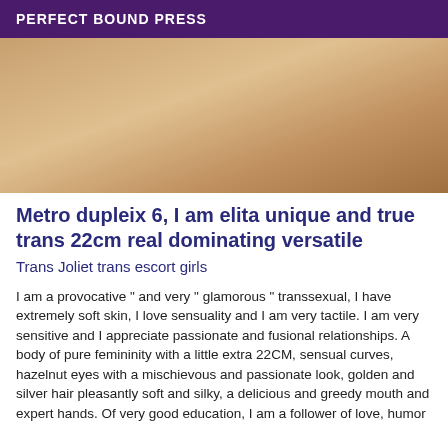PERFECT BOUND PRESS
[Figure (photo): Partial view of a person lying down, skin tones visible, blurred background.]
Metro dupleix 6, I am elita unique and true trans 22cm real dominating versatile
Trans Joliet trans escort girls
I am a provocative " and very " glamorous " transsexual, I have extremely soft skin, I love sensuality and I am very tactile. I am very sensitive and I appreciate passionate and fusional relationships. A body of pure femininity with a little extra 22CM, sensual curves, hazelnut eyes with a mischievous and passionate look, golden and silver hair pleasantly soft and silky, a delicious and greedy mouth and expert hands. Of very good education, I am a follower of love, humor...